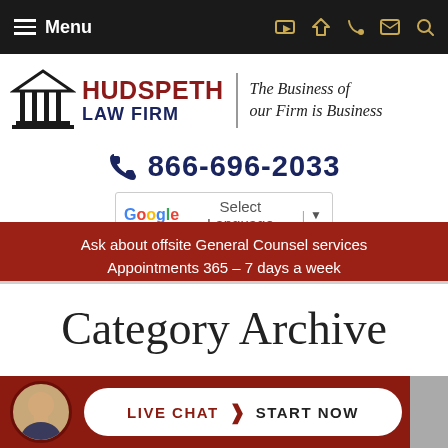Menu | Navigation icons
[Figure (logo): Hudspeth Law Firm logo with building icon and tagline: The Business of our Firm is Business]
866-696-2033
[Figure (other): Google Translate widget: Select Language dropdown]
Ask about offsite General Counsel services Appointments 365 – 7 days a week
Category Archive
[Figure (other): Live Chat bar with attorney photo and Start Now button]